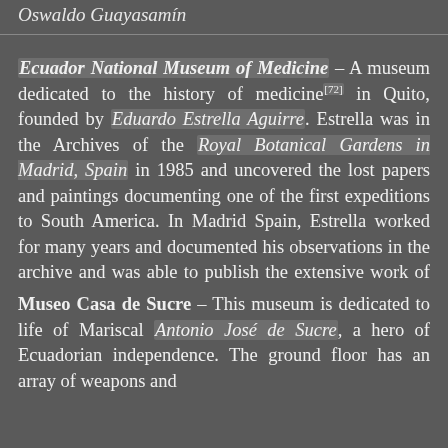Oswaldo Guayasamín
Ecuador National Museum of Medicine – A museum dedicated to the history of medicine[72] in Quito, founded by Eduardo Estrella Aguirre. Estrella was in the Archives of the Royal Botanical Gardens in Madrid, Spain in 1985 and uncovered the lost papers and paintings documenting one of the first expeditions to South America. In Madrid Spain, Estrella worked for many years and documented his observations in the archive and was able to publish the extensive work of Juan Tafalla in a book called Flora Huayaquilensis.
Museo Casa de Sucre – This museum is dedicated to life of Mariscal Antonio José de Sucre, a hero of Ecuadorian independence. The ground floor has an array of weapons and